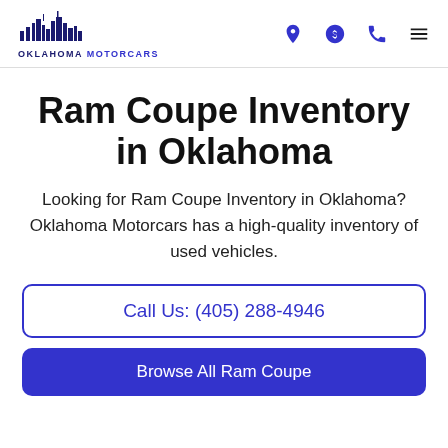[Figure (logo): Oklahoma Motorcars logo with city skyline silhouette above text OKLAHOMA MOTORCARS in dark navy/blue]
[Figure (other): Navigation icons: location pin, dollar sign circle, phone, and hamburger menu — all in blue/purple]
Ram Coupe Inventory in Oklahoma
Looking for Ram Coupe Inventory in Oklahoma? Oklahoma Motorcars has a high-quality inventory of used vehicles.
Call Us: (405) 288-4946
Browse All Ram Coupe